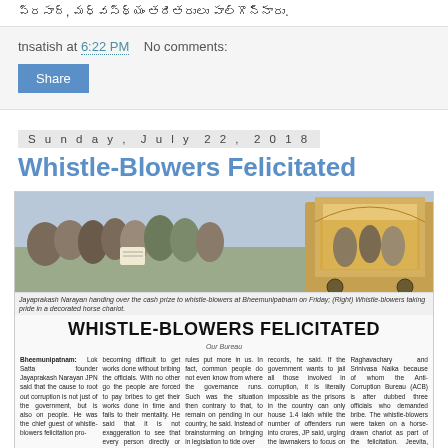ప్రసాద్, మధ్వస్థ్యం తదితరులు పాల్గొన్నారు.
tnsatish at 6:22 PM    No comments:
Share
Sunday, July 22, 2018
Whistle-Blowers Felicitated
[Figure (photo): Newspaper photograph showing Jayaprakash Narayan handing over the cash prize to whistle-blowers at Bheemunipatnam on Friday; (Right) Whistle-blowers taking pride in a decorated horse chariot.]
Jayaprakash Narayan handing over the cash prize to whistle-blowers at Bheemunipatnam on Friday; (Right) Whistle-blowers taking pride in a decorated horse chariot.
WHISTLE-BLOWERS FELICITATED
Our Bureau
Bheemunipatnam: Lok Satta founder Jayaprakash Narayan JPN said that the cause to root out corruption is not just of the government, but is also on people. He was the chief guest of whistle-blowers felicitation programme...
becoming difficult to get works done without bribing the officials. With no other go the people are forced to pay bribes to get their works done in time and fails to their mentality...
rules put more in us. In fact, common people do not even know from where the governance runs. Such was the situation then contrary to that, to remain on pending in our country, he said...
records, he said. If the government wants to jail all those involved in corruption, it is literally impossible as the prisons in the country can only house 1.4 lakh while the number of offenders runs into crores, JP said, urging the lawmakers to focus on pragmatic solutions...
Raghavachary and Srinivasa Naika because of whom the Anti-Corruption Bureau (ACB) is after dubbed three officials who demanded bribes. The whistle-blowers were taken on a horse-drawn chariot as part of the felicitation. Jeevita, Warangal-based NGO, which organised the...